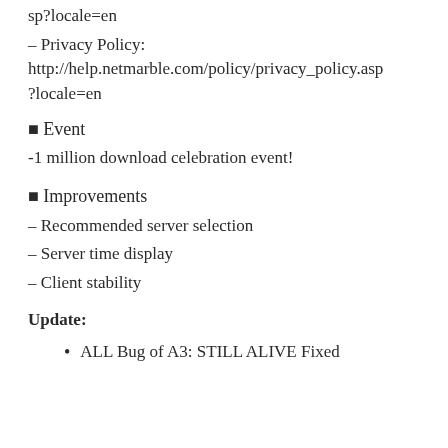sp?locale=en
– Privacy Policy: http://help.netmarble.com/policy/privacy_policy.asp?locale=en
■ Event
-1 million download celebration event!
■ Improvements
– Recommended server selection
– Server time display
– Client stability
Update:
ALL Bug of A3: STILL ALIVE Fixed